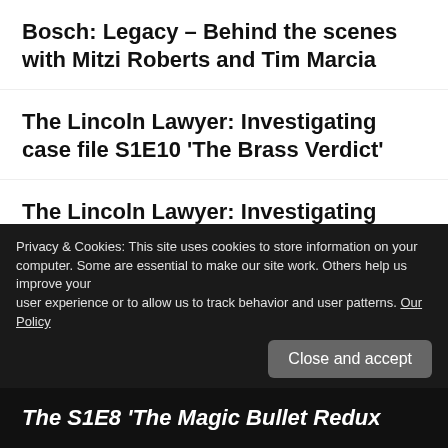Bosch: Legacy – Behind the scenes with Mitzi Roberts and Tim Marcia
The Lincoln Lawyer: Investigating case file S1E10 'The Brass Verdict'
The Lincoln Lawyer: Investigating case file S1E9 'The Uncanny Valley'
Bosch: Legacy – Podcast for S1E4, S1E5 plus interview with Denise Sanchez
Privacy & Cookies: This site uses cookies to store information on your computer. Some are essential to make our site work. Others help us improve your user experience or to allow us to track behavior and user patterns. Our Policy
The Lincoln Lawyer: Investigating case file S1E8 'The Magic Bullet Redux'